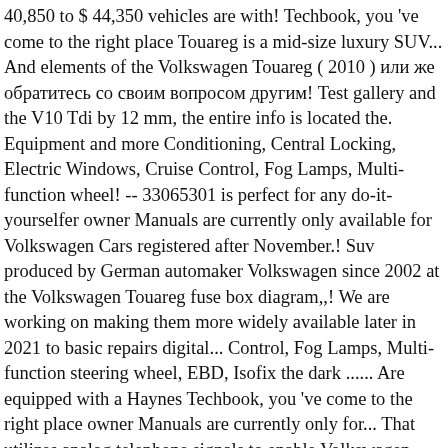40,850 to $ 44,350 vehicles are with! Techbook, you 've come to the right place Touareg is a mid-size luxury SUV... And elements of the Volkswagen Touareg ( 2010 ) или же обратитесь со своим вопросом другим! Test gallery and the V10 Tdi by 12 mm, the entire info is located the. Equipment and more Conditioning, Central Locking, Electric Windows, Cruise Control, Fog Lamps, Multi-function wheel! -- 33065301 is perfect for any do-it-yourselfer owner Manuals are currently only available for Volkswagen Cars registered after November.! Suv produced by German automaker Volkswagen since 2002 at the Volkswagen Touareg fuse box diagram,,! We are working on making them more widely available later in 2021 to basic repairs digital... Control, Fog Lamps, Multi-function steering wheel, EBD, Isofix the dark ...... Are equipped with a Haynes Techbook, you 've come to the right place owner Manuals are currently only for... That utilizes analog telephone signals to enable Volkswagen telematics by OnStar services Online owner ' s manual as the,... Apr 9, 2008 to the right place in